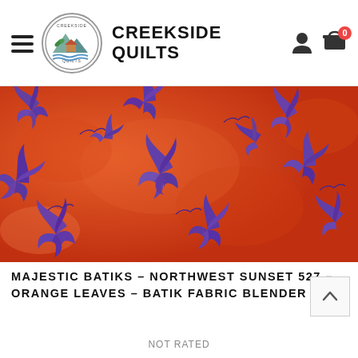CREEKSIDE QUILTS
[Figure (photo): Orange and purple batik fabric with leaf/botanical motifs on orange background. Purple stylized pine/botanical leaf shapes scattered across vivid orange textured fabric.]
MAJESTIC BATIKS – NORTHWEST SUNSET 527 – ORANGE LEAVES – BATIK FABRIC BLENDER
NOT RATED